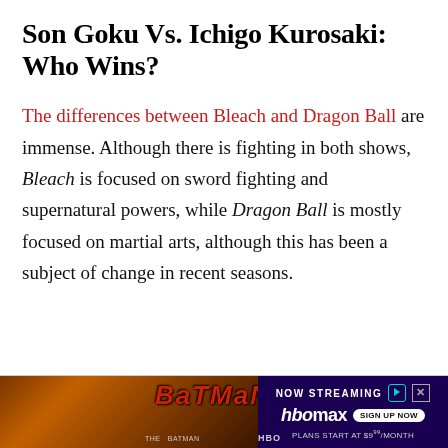Son Goku Vs. Ichigo Kurosaki: Who Wins?
The differences between Bleach and Dragon Ball are immense. Although there is fighting in both shows, Bleach is focused on sword fighting and supernatural powers, while Dragon Ball is mostly focused on martial arts, although this has been a subject of change in recent seasons.
[Figure (screenshot): Advertisement banner for The Batman movie streaming on HBO Max. Shows The Batman movie title text in red on a dark orange/brown background on the left side, and on the right shows 'NOW STREAMING' text with HBO Max logo and 'SIGN UP NOW' button, 'PLANS START AT $9.99/MONTH' text below.]